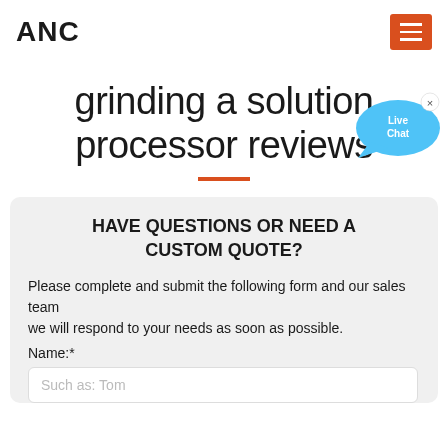ANC
grinding a solution processor reviews
[Figure (illustration): Live Chat bubble icon with blue speech bubble shape and 'Live Chat' text, with an X close button in top right corner]
HAVE QUESTIONS OR NEED A CUSTOM QUOTE?
Please complete and submit the following form and our sales team we will respond to your needs as soon as possible. Name:*
Such as: Tom